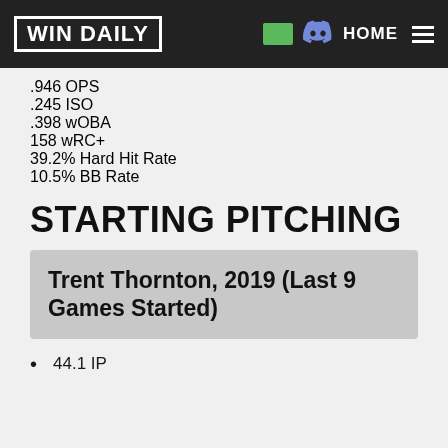WIN DAILY
.946 OPS
.245 ISO
.398 wOBA
158 wRC+
39.2% Hard Hit Rate
10.5% BB Rate
STARTING PITCHING
Trent Thornton, 2019 (Last 9 Games Started)
44.1 IP